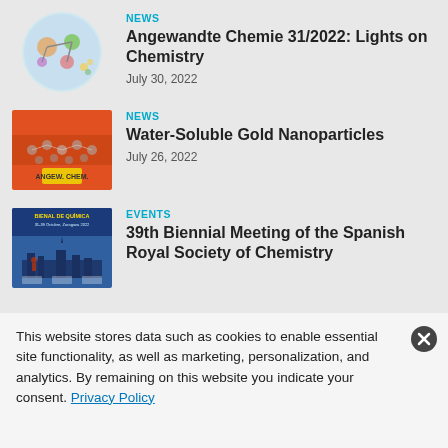[Figure (illustration): Circular thumbnail image with colorful chemistry/molecular illustration]
NEWS
Angewandte Chemie 31/2022: Lights on Chemistry
July 30, 2022
[Figure (illustration): Red/orange rectangular thumbnail with molecular structures and text overlay]
NEWS
Water-Soluble Gold Nanoparticles
July 26, 2022
[Figure (illustration): Blue rectangular thumbnail with event/meeting poster for Spanish Royal Society of Chemistry]
EVENTS
39th Biennial Meeting of the Spanish Royal Society of Chemistry
This website stores data such as cookies to enable essential site functionality, as well as marketing, personalization, and analytics. By remaining on this website you indicate your consent. Privacy Policy